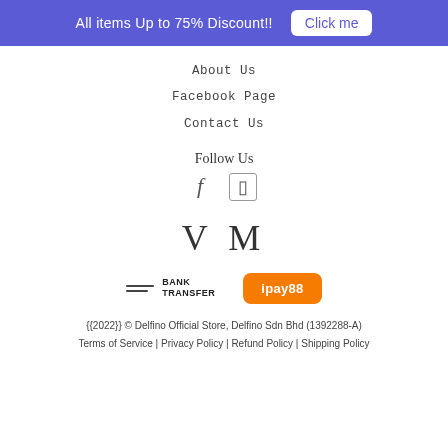All items Up to 75% Discount!! Click me
About Us
Facebook Page
Contact Us
Follow Us
[Figure (other): Social media icons: Facebook (f) and Instagram (rectangle)]
[Figure (logo): VM logo text in serif font]
[Figure (other): Payment methods: Bank Transfer icon and ipay88 orange button]
{{2022}} © Delfino Official Store, Delfino Sdn Bhd (1392288-A)
Terms of Service | Privacy Policy | Refund Policy | Shipping Policy